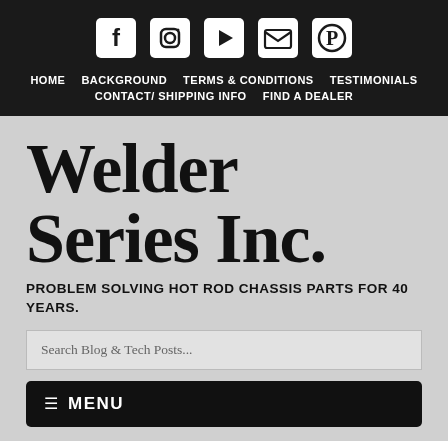[Figure (infographic): Social media icons: Facebook, Instagram, YouTube, Email (envelope), Pinterest — white on dark background]
HOME   BACKGROUND   TERMS & CONDITIONS   TESTIMONIALS   CONTACT / SHIPPING INFO   FIND A DEALER
Welder Series Inc.
PROBLEM SOLVING HOT ROD CHASSIS PARTS FOR 40 YEARS.
Search Blog & Tech Posts...
≡ MENU
FEBRUARY 15, 2011